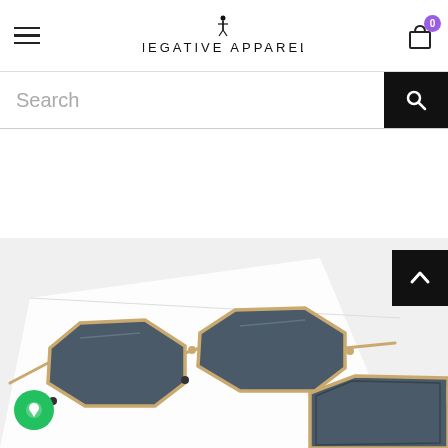Negative Apparel — navigation header with hamburger menu, logo, and cart icon showing 0 items
Search
[Figure (screenshot): Back to top arrow button (chevron up) on black background, top-right corner]
[Figure (photo): Product photo of geometric hexagonal sunglasses with dark lenses and rose gold metal frames, laid flat on a white surface. Two views visible: full pair and close-up of one lens.]
[Figure (other): Green circular chat/support button with white chat icon, bottom-left corner]